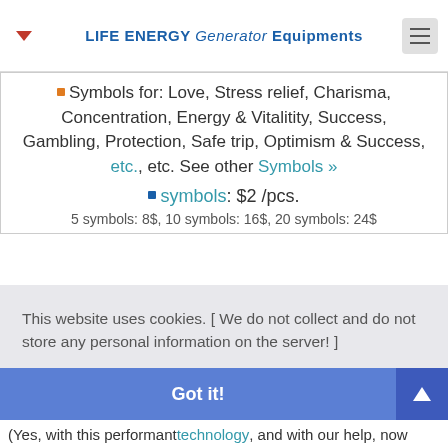LIFE ENERGY Generator Equipments
Symbols for: Love, Stress relief, Charisma, Concentration, Energy & Vitalitity, Success, Gambling, Protection, Safe trip, Optimism & Success, etc., etc. See other Symbols »
symbols: $2 /pcs.
5 symbols: 8$, 10 symbols: 16$, 20 symbols: 24$
This website uses cookies. [ We do not collect and do not store any personal information on the server! ]
»» More information... [Cookie Policy & GDP(R) statement (Data Protection Declaration)]
(Yes, with this performant technology, and with our help, now